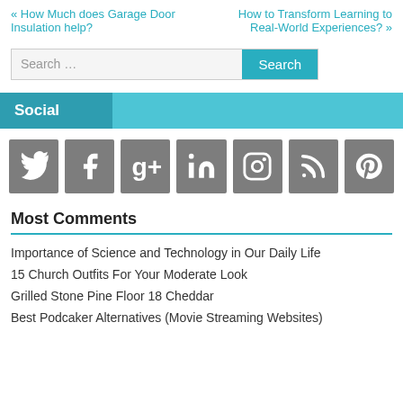« How Much does Garage Door Insulation help?
How to Transform Learning to Real-World Experiences? »
Search …
Social
[Figure (infographic): Row of 7 social media icon buttons (Twitter, Facebook, Google+, LinkedIn, Instagram, RSS, Pinterest) on grey square backgrounds]
Most Comments
Importance of Science and Technology in Our Daily Life
15 Church Outfits For Your Moderate Look
Grilled Stone Pine Floor 18 Cheddar
Best Podcaker Alternatives (Movie Streaming Websites)